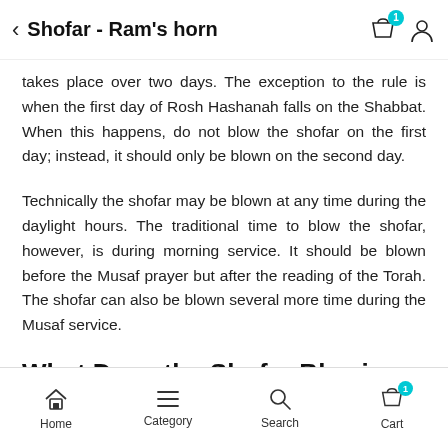Shofar - Ram's horn
takes place over two days. The exception to the rule is when the first day of Rosh Hashanah falls on the Shabbat. When this happens, do not blow the shofar on the first day; instead, it should only be blown on the second day.
Technically the shofar may be blown at any time during the daylight hours. The traditional time to blow the shofar, however, is during morning service. It should be blown before the Musaf prayer but after the reading of the Torah. The shofar can also be blown several more time during the Musaf service.
What Does the Shofar Blowing Mean?
Home   Category   Search   Cart